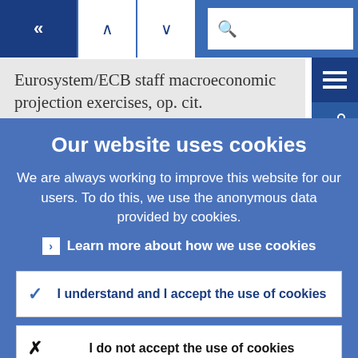[Figure (screenshot): Navigation bar with back arrow, up/down chevrons, and search bar on blue background]
Eurosystem/ECB staff macroeconomic projection exercises, op. cit.
Our website uses cookies
We are always working to improve this website for our users. To do this, we use the anonymous data provided by cookies.
Learn more about how we use cookies
I understand and I accept the use of cookies
I do not accept the use of cookies